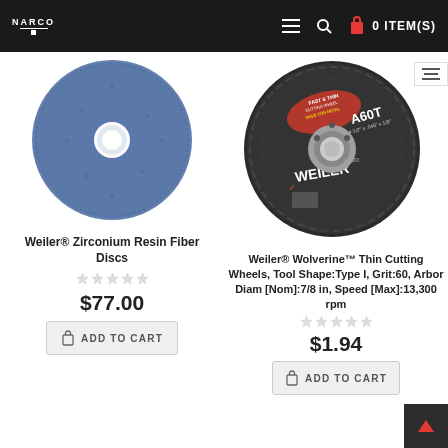NARCO  0 ITEM(S)
[Figure (photo): Blue zirconium resin fiber disc (abrasive grinding disc) with white center hole]
Weiler® Zirconium Resin Fiber Discs
$77.00
ADD TO CART
[Figure (photo): Weiler Wolverine thin cutting wheel - dark grey with center hole and red/white label showing A60T, Fast & Thin, for Metal, 4-1/2 x .045 x 7/8, 13,300 rpm]
Weiler® Wolverine™ Thin Cutting Wheels, Tool Shape:Type I, Grit:60, Arbor Diam [Nom]:7/8 in, Speed [Max]:13,300 rpm
$1.94
ADD TO CART